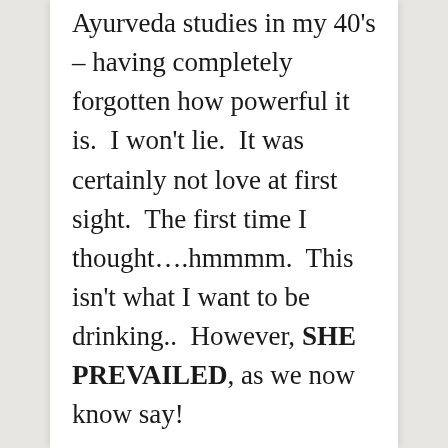Ayurveda studies in my 40's – having completely forgotten how powerful it is.  I won't lie.  It was certainly not love at first sight.  The first time I thought….hmmmm.  This isn't what I want to be drinking..  However, SHE PREVAILED, as we now know say!

I love how it promotes healthy digestion, and helps with the discomfort of indigestion, or too